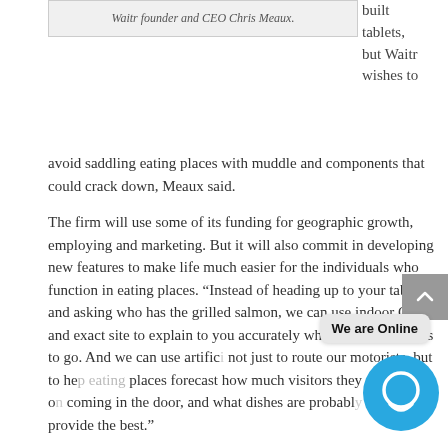Waitr founder and CEO Chris Meaux.
built tablets, but Waitr wishes to avoid saddling eating places with muddle and components that could crack down, Meaux said.
The firm will use some of its funding for geographic growth, employing and marketing. But it will also commit in developing new features to make life much easier for the individuals who function in eating places. “Instead of heading up to your table and asking who has the grilled salmon, we can use indoor GPS and exact site to explain to you accurately where that dish needs to go. And we can use artific... not just to route our motorists, but to help eating places forecast how much visitors they can count on coming in the door, and what dishes are probably heading to provide the best.”